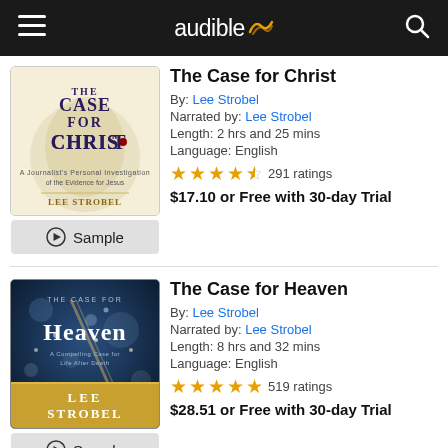audible
The Case for Christ
By: Lee Strobel
Narrated by: Lee Strobel
Length: 2 hrs and 25 mins
Language: English
291 ratings
$17.10 or Free with 30-day Trial
The Case for Heaven
By: Lee Strobel
Narrated by: Lee Strobel
Length: 8 hrs and 32 mins
Language: English
519 ratings
$28.51 or Free with 30-day Trial